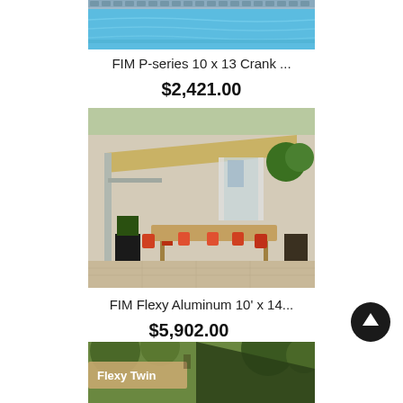[Figure (photo): Partially cropped photo of a pool/water surface with decorative tile border]
FIM P-series 10 x 13 Crank ...
$2,421.00
[Figure (photo): Outdoor patio with cantilevered aluminum pergola shade structure, long wooden dining table, red/orange chairs, plants and greenery in background]
FIM Flexy Aluminum 10' x 14...
$5,902.00
[Figure (photo): Partially visible photo at bottom showing Flexy Twin product with label overlay]